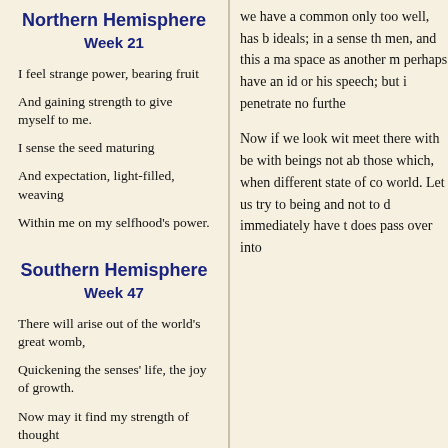Northern Hemisphere
Week 21
I feel strange power, bearing fruit
And gaining strength to give myself to me.
I sense the seed maturing
And expectation, light-filled, weaving
Within me on my selfhood's power.
Southern Hemisphere
Week 47
There will arise out of the world's great womb,
Quickening the senses' life, the joy of growth.
Now may it find my strength of thought
we have a common only too well, has b ideals; in a sense th men, and this a ma space as another m perhaps have an id or his speech; but i penetrate no furthe
Now if we look wit meet there with be with beings not ab those which, when different state of co world. Let us try to being and not to d immediately have t does pass over into